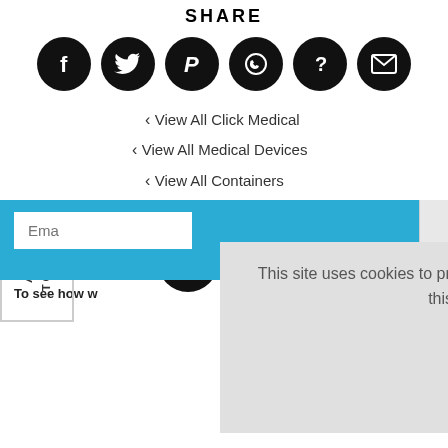SHARE
[Figure (illustration): Six black circular social share icons: Facebook (f), Twitter (bird), Pinterest (P), WhatsApp (phone), Unknown (?), Email (envelope)]
View All Click Medical
View All Medical Devices
View All Containers
[Figure (screenshot): Blue banner with email input field partially visible (Ema...)]
To see how w...
[Figure (illustration): Back to TOP button on left side, Facebook circle icon below]
This site uses cookies to provide and improve your shopping experience. If you want to benefit from this improved service, please opt-in. Cookies Page.
I opt-in to a better browsing experience
ACCEPT COOKIES